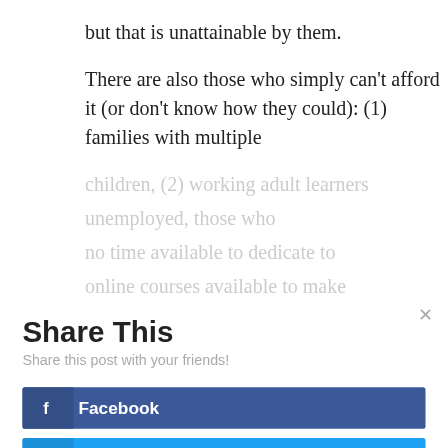but that is unattainable by them.
There are also those who simply can't afford it (or don't know how they could): (1) families with multiple
[Figure (screenshot): A 'Share This' modal dialog with title 'Share This', subtitle 'Share this post with your friends!', and four sharing buttons: Facebook (blue/dark blue), Twitter (cyan/blue), LinkedIn (teal/blue), Gmail (red). A close button (×) is in the top right corner.]